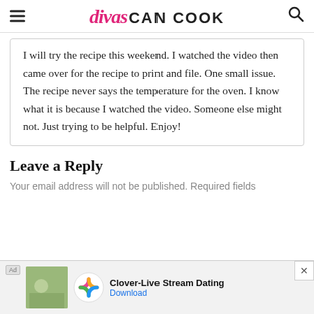divas CAN COOK
I will try the recipe this weekend. I watched the video then came over for the recipe to print and file. One small issue. The recipe never says the temperature for the oven. I know what it is because I watched the video. Someone else might not. Just trying to be helpful. Enjoy!
Leave a Reply
Your email address will not be published. Required fields
[Figure (screenshot): Mobile advertisement banner for Clover-Live Stream Dating app with app icon and Download link]